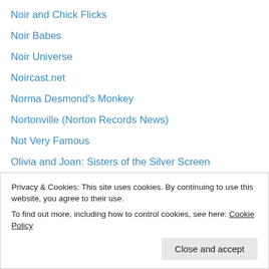Noir and Chick Flicks
Noir Babes
Noir Universe
Noircast.net
Norma Desmond's Monkey
Nortonville (Norton Records News)
Not Very Famous
Olivia and Joan: Sisters of the Silver Screen
On This Day in Jazz Age Music
Only Old Movies
Out of the Past: A Classic Film Blog
Out of the Past: Investigating Film Noir
Paradise Leased
Privacy & Cookies: This site uses cookies. By continuing to use this website, you agree to their use.
To find out more, including how to control cookies, see here: Cookie Policy
Close and accept